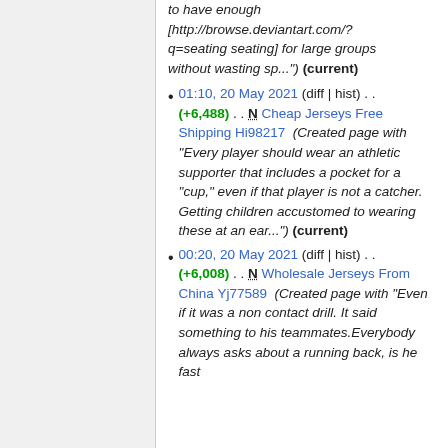to have enough [http://browse.deviantart.com/?q=seating seating] for large groups without wasting sp...") (current)
01:10, 20 May 2021 (diff | hist) . . (+6,488) . . N Cheap Jerseys Free Shipping Hi98217 (Created page with "Every player should wear an athletic supporter that includes a pocket for a "cup," even if that player is not a catcher. Getting children accustomed to wearing these at an ear...") (current)
00:20, 20 May 2021 (diff | hist) . . (+6,008) . . N Wholesale Jerseys From China Yj77589 (Created page with "Even if it was a non contact drill. It said something to his teammates.Everybody always asks about a running back, is he fast